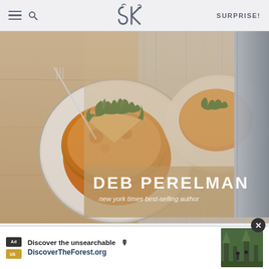SK | SURPRISE!
[Figure (photo): Book cover for Smitten Kitchen by Deb Perelman showing tortilla or frittata on plates with arugula garnish. Text reads DEB PERELMAN new york times best-selling author.]
AS AN AMAZON ASSOCIATE I EARN FROM QUALIFYING PURCHASES.
©2009-2022 SMITTEN KITCHEN. PROUDLY POWERED BY WORDPRESS. HOSTED BY PRESSABLE
[Figure (screenshot): Advertisement banner: Discover the unsearchable / DiscoverTheForest.org with photo of people in forest and close/X button]